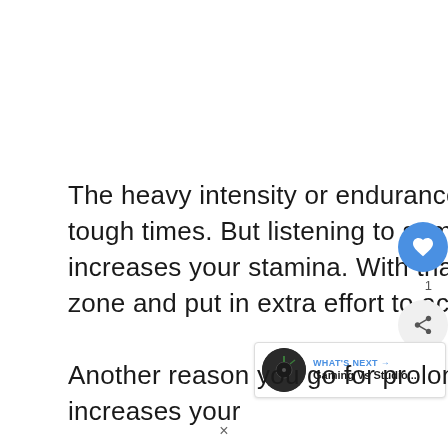The heavy intensity or endurance workouts can really give you some tough times. But listening to some motivational rock and pop music increases your stamina. With that, you tend to come out of your comfort zone and put in extra effort to achieve goals faster.
Another reason you go for prolonged sessions is that music increases your